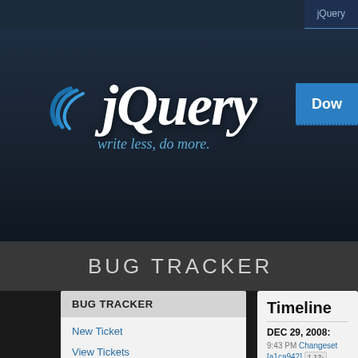jQuery
[Figure (logo): jQuery logo with blue swoosh graphic and tagline 'write less, do more.']
[Figure (screenshot): Download button (blue, partial, top-right)]
BUG TRACKER
BUG TRACKER
New Ticket
View Tickets
Ticket Graph
Roadmap
Recent Changes
TRACKER ACCOUNT
Timeline
DEC 29, 2008:
9:43 PM Changeset [a1ca942] 1.12- <aflesler@...>
src/data.js
jquery.data: Fixed a weird patch me...